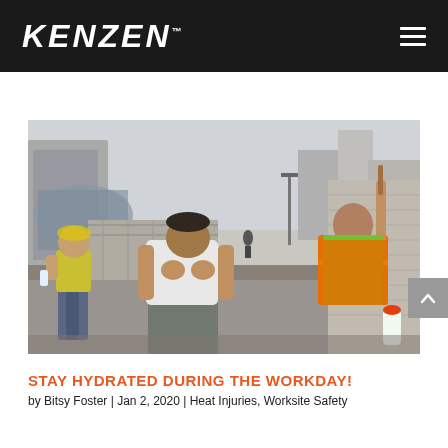KENZEN™
[Figure (photo): Two construction workers sitting on the ground resting, one in a white t-shirt leaning forward with his head down appearing exhausted, another in an orange safety vest leaning against a wall. A water bottle is visible nearby. Urban construction site background with barriers and buildings.]
STAY HYDRATED DURING THE WORKDAY!
by Bitsy Foster | Jan 2, 2020 | Heat Injuries, Worksite Safety